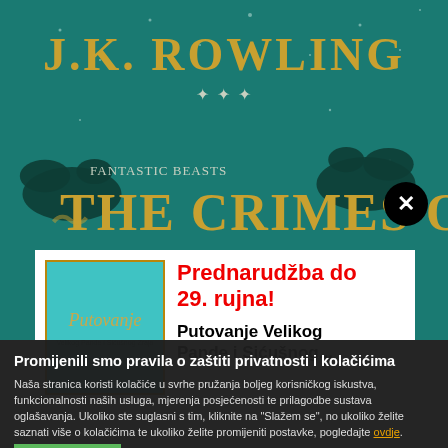[Figure (photo): Book cover for 'Fantastic Beasts: The Crimes of Grindelwald' by J.K. Rowling, teal/green background with gold text and decorative bats]
[Figure (screenshot): Modal popup showing book 'Putovanje Velikog Pande i Sićušnog Zraja' with pre-order call to action 'Prednarudžba do 29. rujna!']
Prednarudžba do 29. rujna!
Putovanje Velikog Pande i Sićušnog...
Promijenili smo pravila o zaštiti privatnosti i kolačićima
Naša stranica koristi kolačiće u svrhe pružanja boljeg korisničkog iskustva, funkcionalnosti naših usluga, mjerenja posjećenosti te prilagodbe sustava oglašavanja. Ukoliko ste suglasni s tim, kliknite na "Slažem se", no ukoliko želite saznati više o kolačićima te ukoliko želite promijeniti postavke, pogledajte ovdje.
Slažem se